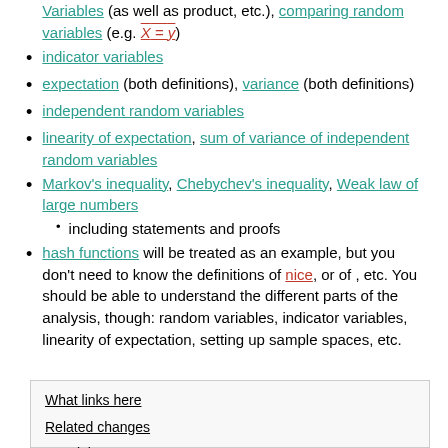variables (as well as product, etc.), comparing random variables (e.g. X = y)
indicator variables
expectation (both definitions), variance (both definitions)
independent random variables
linearity of expectation, sum of variance of independent random variables
Markov's inequality, Chebychev's inequality, Weak law of large numbers
including statements and proofs
hash functions will be treated as an example, but you don't need to know the definitions of nice, or of , etc. You should be able to understand the different parts of the analysis, though: random variables, indicator variables, linearity of expectation, setting up sample spaces, etc.
What links here
Related changes
Special pages